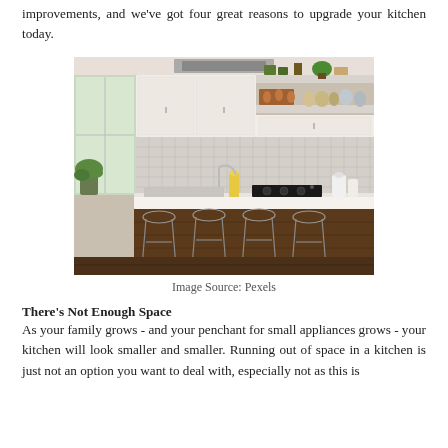improvements, and we've got four great reasons to upgrade your kitchen today.
[Figure (photo): Modern kitchen interior with white upper cabinets, open shelving with decor items, a kitchen island with white countertop and four wire/chrome bar stools, dark wood base, patterned tile backsplash, and a gas cooktop. Natural light comes from a window on the left.]
Image Source: Pexels
There's Not Enough Space
As your family grows - and your penchant for small appliances grows - your kitchen will look smaller and smaller. Running out of space in a kitchen is just not an option you want to deal with, especially not as this is